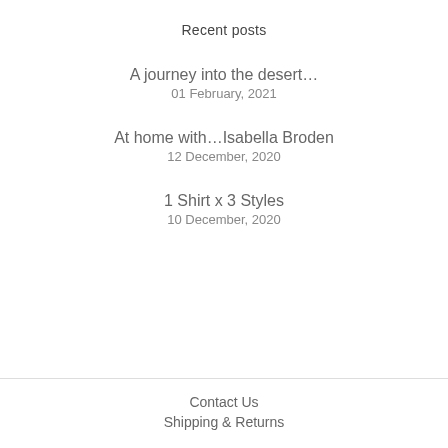Recent posts
A journey into the desert...
01 February, 2021
At home with...Isabella Broden
12 December, 2020
1 Shirt x 3 Styles
10 December, 2020
Contact Us
Shipping & Returns